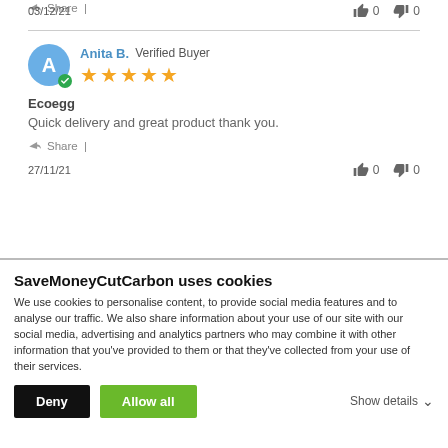Share |
03/12/21   👍 0   👎 0
Anita B. Verified Buyer ★★★★★
Ecoegg
Quick delivery and great product thank you.
Share |
27/11/21   👍 0   👎 0
SaveMoneyCutCarbon uses cookies
We use cookies to personalise content, to provide social media features and to analyse our traffic. We also share information about your use of our site with our social media, advertising and analytics partners who may combine it with other information that you've provided to them or that they've collected from your use of their services.
Deny   Allow all   Show details